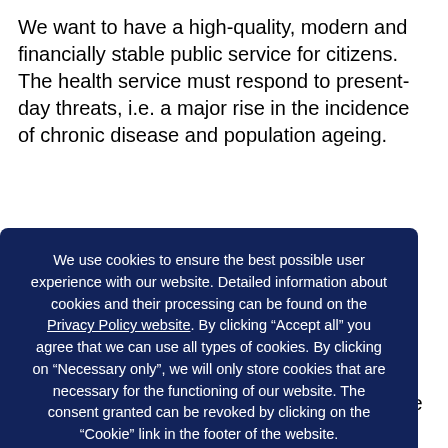We want to have a high-quality, modern and financially stable public service for citizens. The health service must respond to present-day threats, i.e. a major rise in the incidence of chronic disease and population ageing.
We use cookies to ensure the best possible user experience with our website. Detailed information about cookies and their processing can be found on the Privacy Policy website. By clicking “Accept all” you agree that we can use all types of cookies. By clicking on “Necessary only”, we will only store cookies that are necessary for the functioning of our website. The consent granted can be revoked by clicking on the “Cookie” link in the footer of the website.
Necessary only
Accept all
management of the Ministry of Health and the hospitals